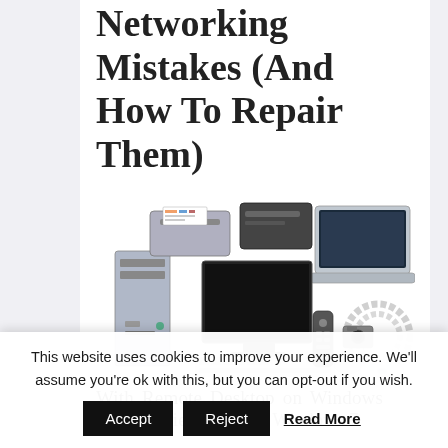Networking Mistakes (And How To Repair Them)
[Figure (illustration): Collection of computer networking devices including a desktop tower with printer, monitor, laptop, keyboard, mouse, remote control, camera, and network cable coil]
With Remote Desktop on Windows
This website uses cookies to improve your experience. We'll assume you're ok with this, but you can opt-out if you wish.